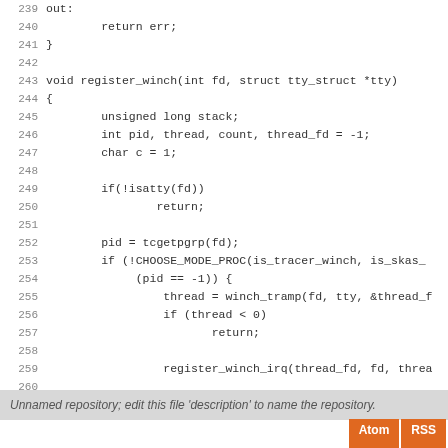[Figure (screenshot): Source code listing showing lines 239-266 of a C function register_winch, with line numbers in gray on the left and code in monospace font on the right. Includes a footer bar with repository description text and Atom/RSS buttons.]
Unnamed repository; edit this file 'description' to name the repository.
Atom RSS